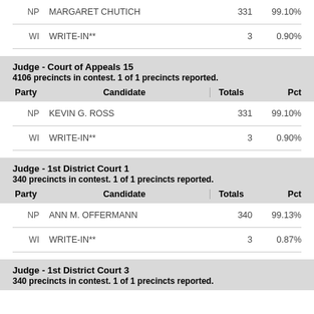| Party | Candidate | Totals | Pct |
| --- | --- | --- | --- |
| NP | MARGARET CHUTICH | 331 | 99.10% |
| WI | WRITE-IN** | 3 | 0.90% |
Judge - Court of Appeals 15
4106 precincts in contest. 1 of 1 precincts reported.
| Party | Candidate | Totals | Pct |
| --- | --- | --- | --- |
| NP | KEVIN G. ROSS | 331 | 99.10% |
| WI | WRITE-IN** | 3 | 0.90% |
Judge - 1st District Court 1
340 precincts in contest. 1 of 1 precincts reported.
| Party | Candidate | Totals | Pct |
| --- | --- | --- | --- |
| NP | ANN M. OFFERMANN | 340 | 99.13% |
| WI | WRITE-IN** | 3 | 0.87% |
Judge - 1st District Court 3
340 precincts in contest. 1 of 1 precincts reported.